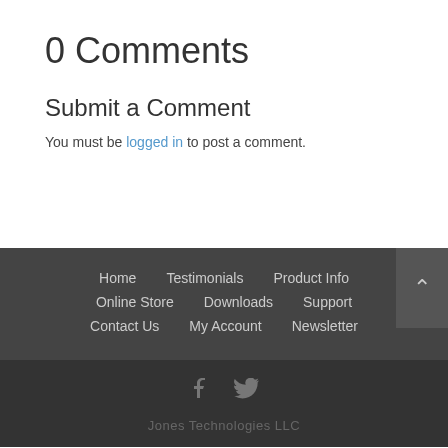0 Comments
Submit a Comment
You must be logged in to post a comment.
Home  Testimonials  Product Info  Online Store  Downloads  Support  Contact Us  My Account  Newsletter
Jones Technologies LLC